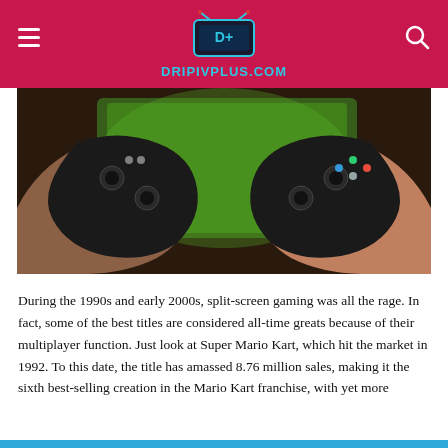DRIPIVPLUS.COM
[Figure (photo): Two people holding PlayStation controllers facing each other, with a green video game screen visible in the background.]
During the 1990s and early 2000s, split-screen gaming was all the rage. In fact, some of the best titles are considered all-time greats because of their multiplayer function. Just look at Super Mario Kart, which hit the market in 1992. To this date, the title has amassed 8.76 million sales, making it the sixth best-selling creation in the Mario Kart franchise, with yet more